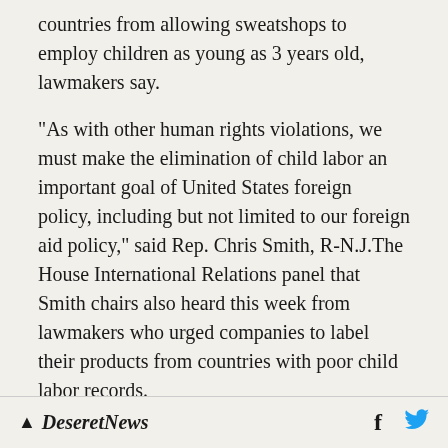countries from allowing sweatshops to employ children as young as 3 years old, lawmakers say.
"As with other human rights violations, we must make the elimination of child labor an important goal of United States foreign policy, including but not limited to our foreign aid policy," said Rep. Chris Smith, R-N.J.The House International Relations panel that Smith chairs also heard this week from lawmakers who urged companies to label their products from countries with poor child labor records.
They said the labels would guarantee that no
Deseret News